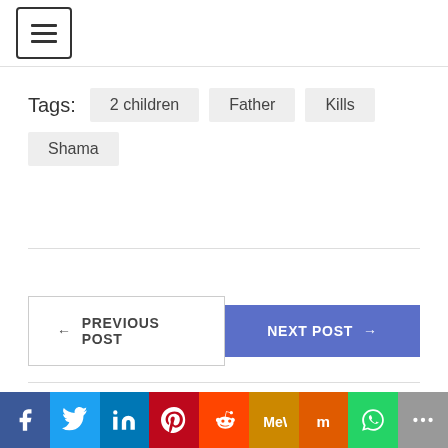☰ (hamburger menu button)
Tags: 2 children  Father  Kills  Shama
← PREVIOUS POST
NEXT POST →
[Figure (infographic): Social share bar with icons: Facebook, Twitter, LinkedIn, Pinterest, Reddit, MeWe, Mix, WhatsApp, More]